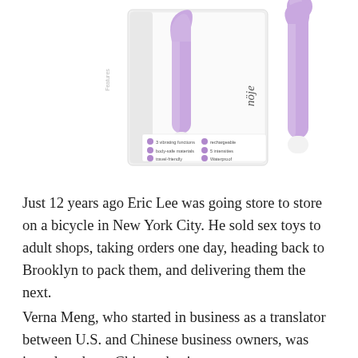[Figure (photo): Product photo of two lavender/purple curved vibrators — one inside a white retail box labeled 'nöje', and one standing beside it. The box has small text listing product features. Both products have a white tip and a curved silicone body in light purple.]
Just 12 years ago Eric Lee was going store to store on a bicycle in New York City. He sold sex toys to adult shops, taking orders one day, heading back to Brooklyn to pack them, and delivering them the next.
Verna Meng, who started in business as a translator between U.S. and Chinese business owners, was introduced to a Chinese business